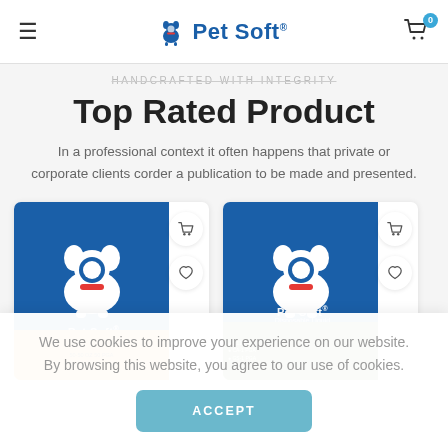Pet Soft — navigation header with hamburger menu, logo, and cart icon (0 items)
HANDCRAFTED WITH INTEGRITY
Top Rated Product
In a professional context it often happens that private or corporate clients corder a publication to be made and presented.
[Figure (photo): Two Pet Soft product cards side by side, each showing a blue Pet Soft branded package with a white dog logo, with cart and heart icons on the right side of each card.]
We use cookies to improve your experience on our website. By browsing this website, you agree to our use of cookies.
ACCEPT